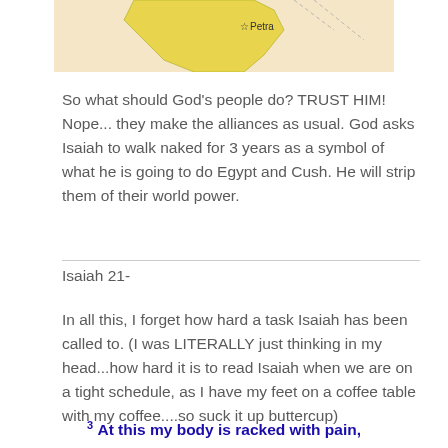[Figure (map): Partial map showing region with Jordan highlighted in yellow and Petra marked with a star symbol]
So what should God’s people do?  TRUST HIM!  Nope... they make the alliances as usual.  God asks Isaiah to walk naked for 3 years as a symbol of what he is going to do Egypt and Cush.   He will strip them of their world power.
Isaiah 21-
In all this, I forget how hard a task Isaiah has been called to.  (I was LITERALLY just thinking in my head...how hard it is to read Isaiah when we are on a tight schedule, as I have my feet on a coffee table with my coffee....so suck it up buttercup)
3 At this my body is racked with pain,